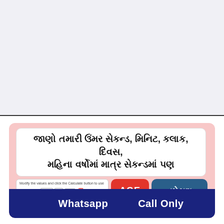[Figure (screenshot): A promotional screenshot showing a Gujarati-language age calculator app UI. Contains a white title box with Gujarati text, a calculator input field, an AGE badge in red showing today's date 01-02-2019, a teal info box with Gujarati text, and a dark blue bottom bar with Whatsapp and Call Only buttons.]